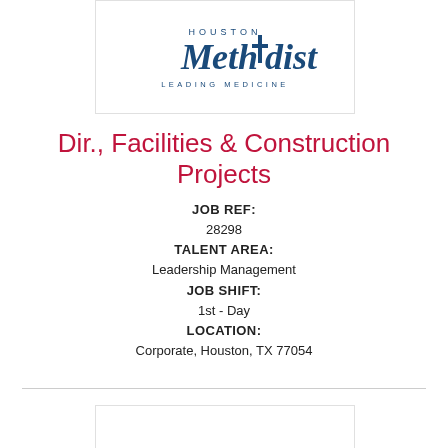[Figure (logo): Houston Methodist Leading Medicine logo]
Dir., Facilities & Construction Projects
JOB REF:
28298
TALENT AREA:
Leadership Management
JOB SHIFT:
1st - Day
LOCATION:
Corporate, Houston, TX 77054
[Figure (other): Bottom white box placeholder]